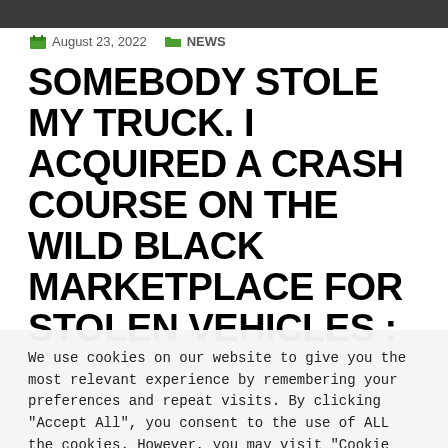[Figure (photo): Partial dark/blurred photo strip at top of page]
August 23, 2022   NEWS
SOMEBODY STOLE MY TRUCK. I ACQUIRED A CRASH COURSE ON THE WILD BLACK MARKETPLACE FOR STOLEN VEHICLES :
We use cookies on our website to give you the most relevant experience by remembering your preferences and repeat visits. By clicking "Accept All", you consent to the use of ALL the cookies. However, you may visit "Cookie Settings" to provide a controlled consent.